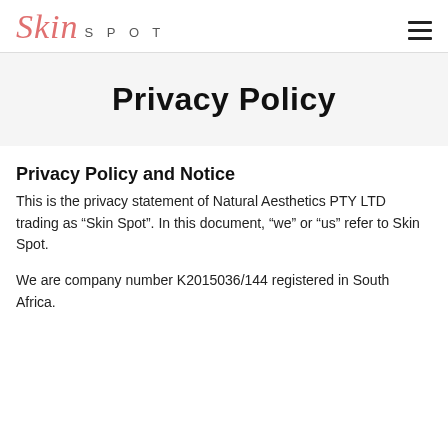Skin Spot
Privacy Policy
Privacy Policy and Notice
This is the privacy statement of Natural Aesthetics PTY LTD trading as “Skin Spot”. In this document, “we” or “us” refer to Skin Spot.
We are company number K2015036/144 registered in South Africa.